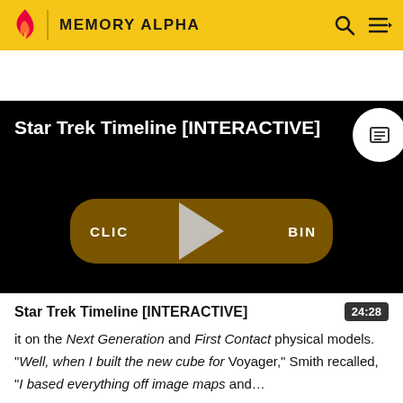MEMORY ALPHA
[Figure (screenshot): Video player thumbnail with black background showing title 'Star Trek Timeline [INTERACTIVE]' and a play button overlay with 'CLICK TO BEGIN' button]
Star Trek Timeline [INTERACTIVE]
it on the Next Generation and First Contact physical models. "Well, when I built the new cube for Voyager," Smith recalled, "I based everything off image maps and..."